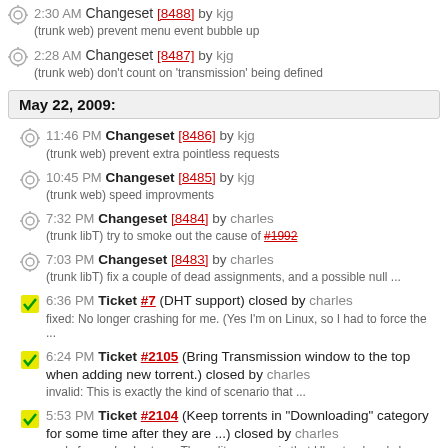2:30 AM Changeset [8488] by kjg
(trunk web) prevent menu event bubble up
2:28 AM Changeset [8487] by kjg
(trunk web) don't count on 'transmission' being defined
May 22, 2009:
11:46 PM Changeset [8486] by kjg
(trunk web) prevent extra pointless requests
10:45 PM Changeset [8485] by kjg
(trunk web) speed improvments
7:32 PM Changeset [8484] by charles
(trunk libT) try to smoke out the cause of #1992
7:03 PM Changeset [8483] by charles
(trunk libT) fix a couple of dead assignments, and a possible null ...
6:36 PM Ticket #7 (DHT support) closed by charles
fixed: No longer crashing for me. (Yes I'm on Linux, so I had to force the ...
6:24 PM Ticket #2105 (Bring Transmission window to the top when adding new torrent.) closed by charles
invalid: This is exactly the kind of scenario that ...
5:53 PM Ticket #2104 (Keep torrents in "Downloading" category for some time after they are ...) closed by charles
worksforms: In short, no. The polite answer is that Ubuntu already has a